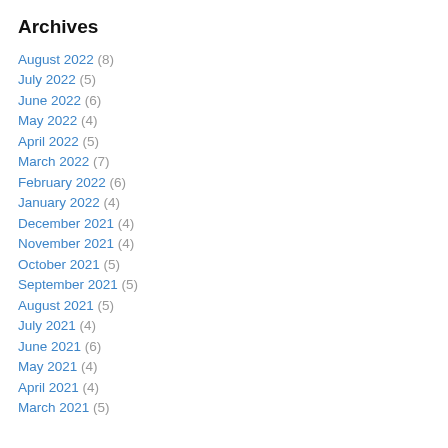Archives
August 2022 (8)
July 2022 (5)
June 2022 (6)
May 2022 (4)
April 2022 (5)
March 2022 (7)
February 2022 (6)
January 2022 (4)
December 2021 (4)
November 2021 (4)
October 2021 (5)
September 2021 (5)
August 2021 (5)
July 2021 (4)
June 2021 (6)
May 2021 (4)
April 2021 (4)
March 2021 (5)